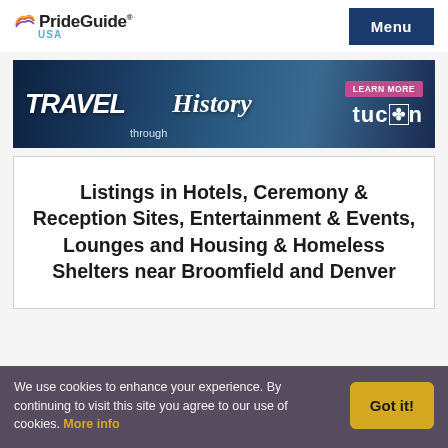PrideGuide USA | Menu
[Figure (illustration): Travel through History Tucson banner advertisement with dark blue background featuring silhouette of historic building and mountains. Shows 'TRAVEL through History' text on left and 'LEARN MORE / tucson' on right.]
Listings in Hotels, Ceremony & Reception Sites, Entertainment & Events, Lounges and Housing & Homeless Shelters near Broomfield and Denver
We use cookies to enhance your experience. By continuing to visit this site you agree to our use of cookies. More info